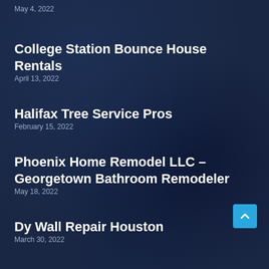May 4, 2022
College Station Bounce House Rentals
April 13, 2022
Halifax Tree Service Pros
February 15, 2022
Phoenix Home Remodel LLC – Georgetown Bathroom Remodeler
May 18, 2022
Dy Wall Repair Houston
March 30, 2022
Noland Heat and Air